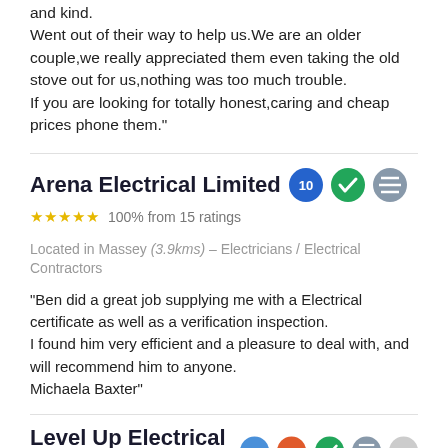and kind.
Went out of their way to help us.We are an older couple,we really appreciated them even taking the old stove out for us,nothing was too much trouble.
If you are looking for totally honest,caring and cheap prices phone them."
Arena Electrical Limited
100% from 15 ratings
Located in Massey (3.9kms) – Electricians / Electrical Contractors
"Ben did a great job supplying me with a Electrical certificate as well as a verification inspection.
I found him very efficient and a pleasure to deal with, and will recommend him to anyone.
Michaela Baxter"
Level Up Electrical Ltd